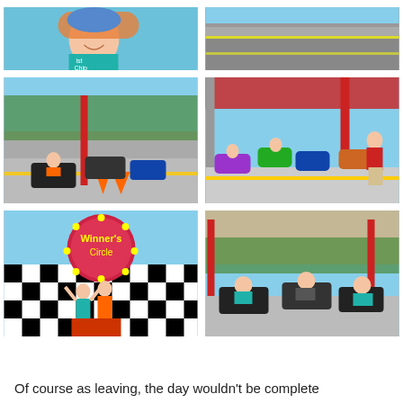[Figure (photo): Close-up of a smiling child wearing a teal shirt and helmet]
[Figure (photo): Go-kart track surface, close-up with road markings]
[Figure (photo): Multiple go-karts lined up at a track starting area with orange cones, children in karts]
[Figure (photo): Go-karts lined up with colorful bumpers, an instructor in red shirt standing nearby, children seated in karts]
[Figure (photo): Two children standing in front of a Winner's Circle sign with checkered flag background]
[Figure (photo): Adults riding go-karts on an outdoor track at sunset]
Of course as leaving, the day wouldn't be complete